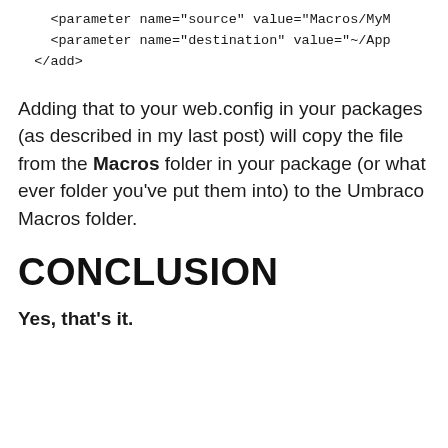<parameter name="source" value="Macros/MyM
    <parameter name="destination" value="~/App
  </add>
Adding that to your web.config in your packages (as described in my last post) will copy the file from the Macros folder in your package (or what ever folder you've put them into) to the Umbraco Macros folder.
CONCLUSION
Yes, that's it.